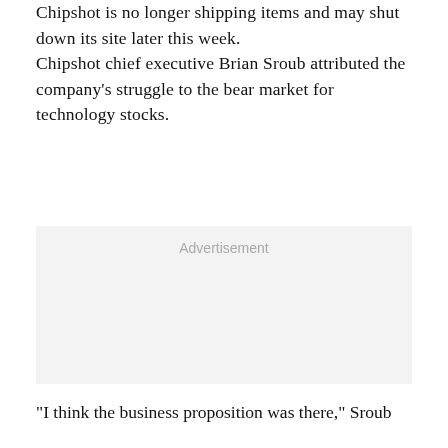Chipshot is no longer shipping items and may shut down its site later this week. Chipshot chief executive Brian Sroub attributed the company's struggle to the bear market for technology stocks.
[Figure (other): Advertisement placeholder box with light gray background]
"I think the business proposition was there," Sroub